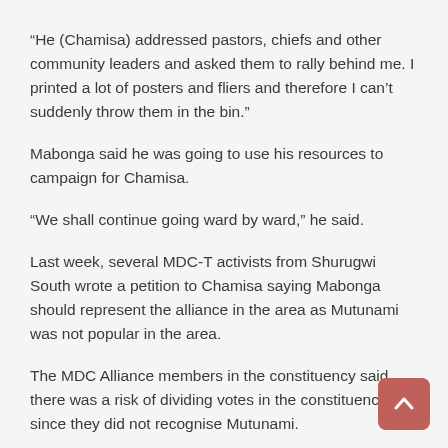“He (Chamisa) addressed pastors, chiefs and other community leaders and asked them to rally behind me. I printed a lot of posters and fliers and therefore I can’t suddenly throw them in the bin.”
Mabonga said he was going to use his resources to campaign for Chamisa.
“We shall continue going ward by ward,” he said.
Last week, several MDC-T activists from Shurugwi South wrote a petition to Chamisa saying Mabonga should represent the alliance in the area as Mutunami was not popular in the area.
The MDC Alliance members in the constituency said there was a risk of dividing votes in the constituency since they did not recognise Mutunami.
Source : Newsday